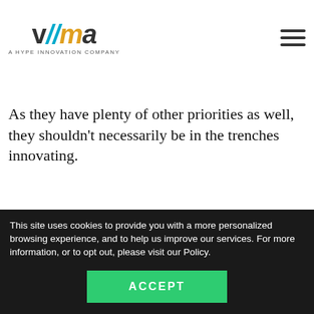VIMA — A HYPE INNOVATION COMPANY (logo + hamburger menu)
experience in innovation is without a doubt a challenge, it doesn't have to be a blocke
As they have plenty of other priorities as well, they shouldn't necessarily be in the trenches innovating.
Senior management simply needs to show others the way forward and then take ownership in helping their
This site uses cookies to provide you with a more personalized browsing experience, and to help us improve our services. For more information, or to opt out, please visit our Policy.
ACCEPT